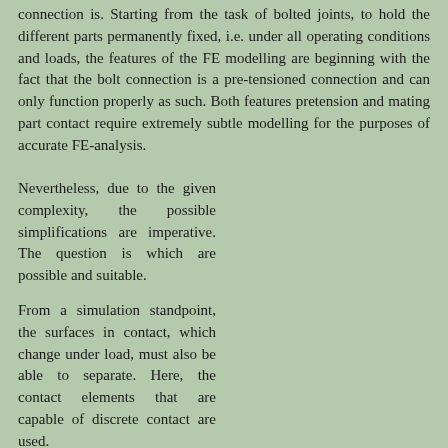connection is. Starting from the task of bolted joints, to hold the different parts permanently fixed, i.e. under all operating conditions and loads, the features of the FE modelling are beginning with the fact that the bolt connection is a pre-tensioned connection and can only function properly as such. Both features pretension and mating part contact require extremely subtle modelling for the purposes of accurate FE-analysis.
Nevertheless, due to the given complexity, the possible simplifications are imperative. The question is which are possible and suitable.
From a simulation standpoint, the surfaces in contact, which change under load, must also be able to separate. Here, the contact elements that are capable of discrete contact are used.